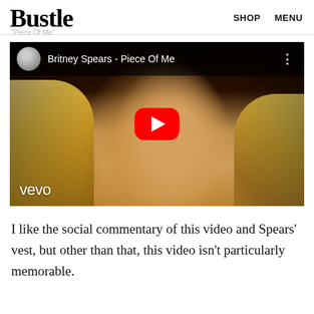Bustle  SHOP  MENU
[Figure (screenshot): YouTube video embed showing Britney Spears - Piece Of Me music video thumbnail with Vevo branding and red play button]
I like the social commentary of this video and Spears' vest, but other than that, this video isn't particularly memorable.